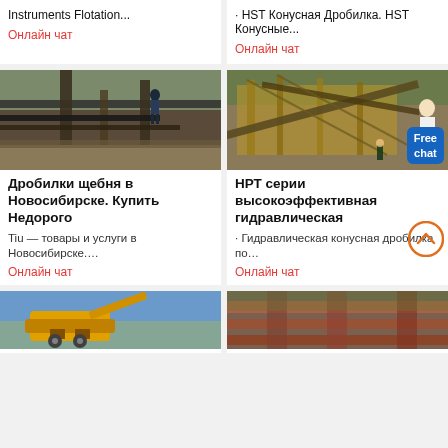Instruments Flotation...
Онлайн чат
· HST Конусная Дробилка. HST Конусные...
Онлайн чат
[Figure (photo): Industrial crusher/screening equipment at a construction/mining site, with a worker standing on the structure]
[Figure (photo): Large yellow industrial mineral processing plant with conveyor belts and scaffolding; woman in white and chat badge overlay]
Дробилки щебня в Новосибирске. Купить Недорого
НРТ серии высокоэффективная гидравлическая
Tiu — товары и услуги в Новосибирске....
· Гидравлическая конусная дробилка по...
Онлайн чат
Онлайн чат
[Figure (photo): Yellow crusher machine against blue sky]
[Figure (photo): Industrial pipes and machinery in a factory setting]